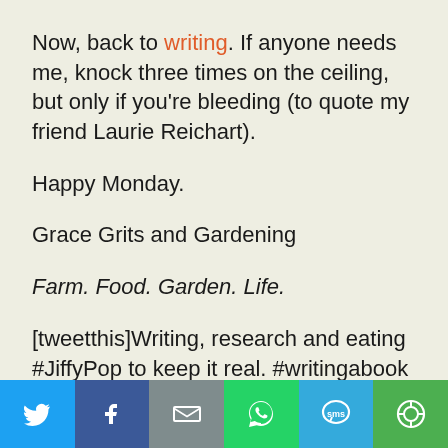Now, back to writing. If anyone needs me, knock three times on the ceiling, but only if you're bleeding (to quote my friend Laurie Reichart).

Happy Monday.

Grace Grits and Gardening

Farm. Food. Garden. Life.

[tweetthis]Writing, research and eating #JiffyPop to keep it real. #writingabook #fiction
[Figure (infographic): Social media share bar with Twitter, Facebook, Email, WhatsApp, SMS, and More buttons at the bottom of the page]